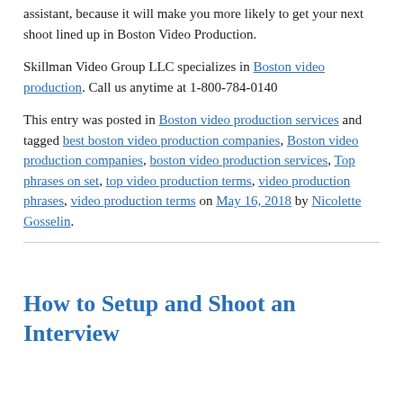assistant, because it will make you more likely to get your next shoot lined up in Boston Video Production.
Skillman Video Group LLC specializes in Boston video production. Call us anytime at 1-800-784-0140
This entry was posted in Boston video production services and tagged best boston video production companies, Boston video production companies, boston video production services, Top phrases on set, top video production terms, video production phrases, video production terms on May 16, 2018 by Nicolette Gosselin.
How to Setup and Shoot an Interview